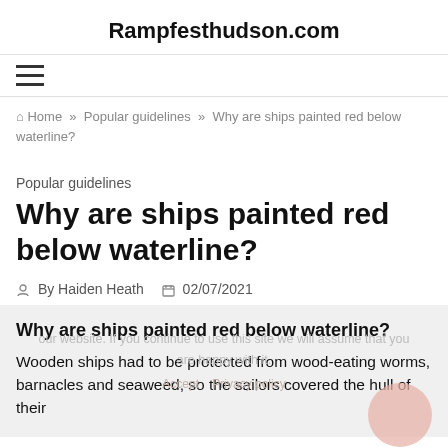Rampfesthudson.com
[Figure (other): Hamburger menu icon with three horizontal bars]
Home » Popular guidelines » Why are ships painted red below waterline?
Popular guidelines
Why are ships painted red below waterline?
By Haiden Heath  02/07/2021
Why are ships painted red below waterline?
Wooden ships had to be protected from wood-eating worms, barnacles and seaweed, so the sailors covered the hull of their